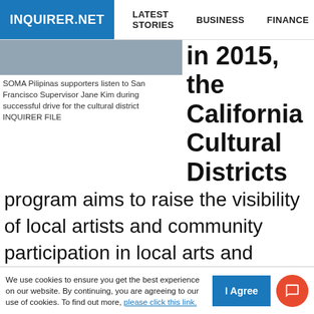INQUIRER.NET   LATEST STORIES   BUSINESS   FINANCE   TECHNOLO
[Figure (photo): Partial view of image showing SOMA Pilipinas supporters listening to San Francisco Supervisor Jane Kim]
SOMA Pilipinas supporters listen to San Francisco Supervisor Jane Kim during successful drive for the cultural district INQUIRER FILE
in 2015, the California Cultural Districts program aims to raise the visibility of local artists and community participation in local arts and culture and promoting socioeconomic and ethnic diversity. Districts also play a conscious role in tackling issues of artist displacement.
South of Market (SOMA) Pilipinas, San Francisco's Filipino Cultural Heritage District — one the cultu...